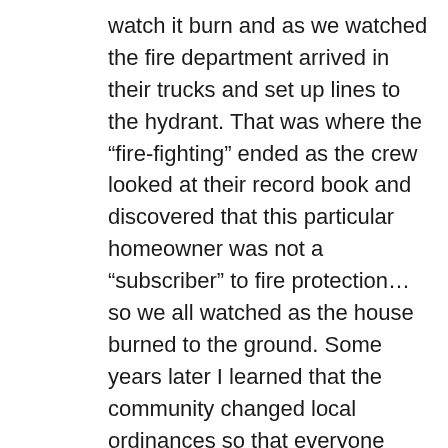watch it burn and as we watched the fire department arrived in their trucks and set up lines to the hydrant. That was where the “fire-fighting” ended as the crew looked at their record book and discovered that this particular homeowner was not a “subscriber” to fire protection… so we all watched as the house burned to the ground. Some years later I learned that the community changed local ordinances so that everyone paid extra taxes and everyone got fire protection. That was presumably what we would now call the dreaded creeping “Socialism”. Same with police protection. Same with the public library, Interstate Highway System, road repair crews, connection to the sewer system and the grid electric. When I hear someone